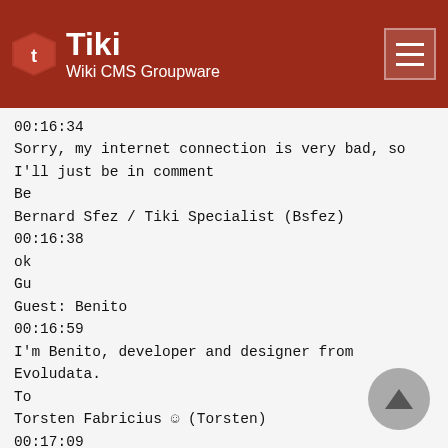Tiki Wiki CMS Groupware
00:16:34
Sorry, my internet connection is very bad, so I'll just be in comment
Be
Bernard Sfez / Tiki Specialist (Bsfez)
00:16:38
ok
Gu
Guest: Benito
00:16:59
I'm Benito, developer and designer from Evoludata.
To
Torsten Fabricius ☺ (Torsten)
00:17:09
nice!
Be
Bernard Sfez / Tiki Specialist (Bsfez)
00:17:28